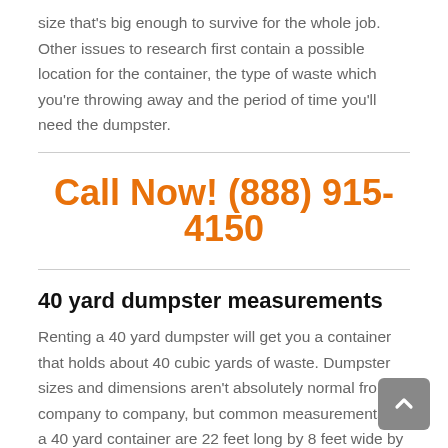size that's big enough to survive for the whole job. Other issues to research first contain a possible location for the container, the type of waste which you're throwing away and the period of time you'll need the dumpster.
Call Now! (888) 915-4150
40 yard dumpster measurements
Renting a 40 yard dumpster will get you a container that holds about 40 cubic yards of waste. Dumpster sizes and dimensions aren't absolutely normal from company to company, but common measurements for a 40 yard container are 22 feet long by 8 feet wide by 8 feet high. This is the biggest size that most dumpster firms typically rent, so it's ideal for large residential projects in addition to for commercial and industrial use.